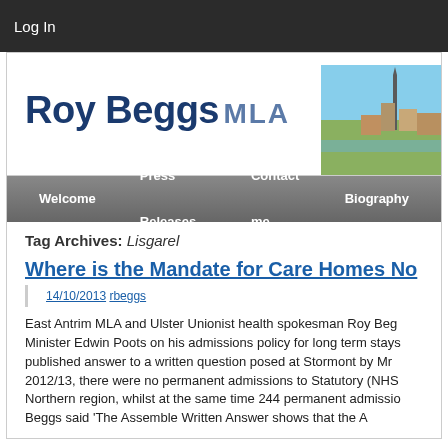Log In
Roy Beggs MLA
Welcome | Press Releases | Contact me | Biography
Tag Archives: Lisgarel
Where is the Mandate for Care Homes No...
14/10/2013 rbeggs
East Antrim MLA and Ulster Unionist health spokesman Roy Beg... Minister Edwin Poots on his admissions policy for long term stays... published answer to a written question posed at Stormont by Mr... 2012/13, there were no permanent admissions to Statutory (NHS... Northern region, whilst at the same time 244 permanent admissio... Beggs said 'The Assemble Written Answer shows that the A...